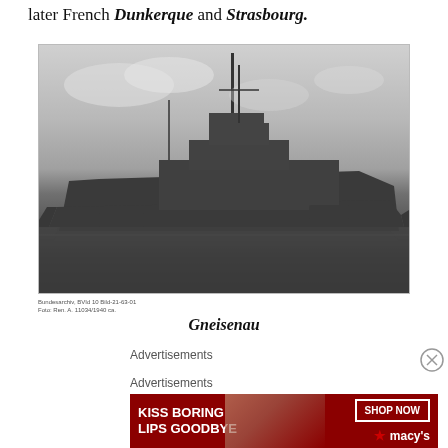later French Dunkerque and Strasbourg.
[Figure (photo): Black and white photograph of the German warship Gneisenau at sea, showing the full profile of the battlecruiser with its distinctive superstructure and masts.]
Gneisenau
Advertisements
Advertisements
[Figure (other): Macy's advertisement banner reading 'KISS BORING LIPS GOODBYE' with a woman's face showing red lips, and a 'SHOP NOW' button with the Macy's star logo.]